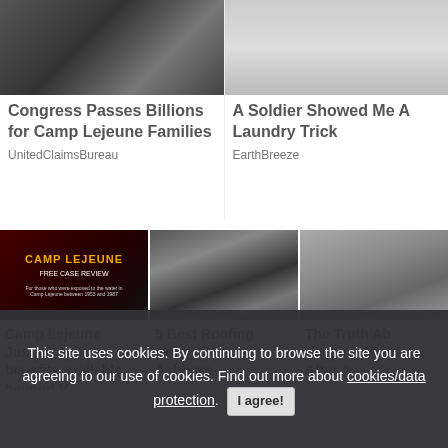[Figure (photo): Close-up photo of a dog with long gray fur]
[Figure (photo): Photo of white washing machines]
Congress Passes Billions for Camp Lejeune Families
UnitedClaimsBureau
A Soldier Showed Me A Laundry Trick
EarthBreeze
[Figure (photo): Camp Lejeune Free Case Review advertisement image with text in yellow]
[Figure (photo): Photo of damaged roof shingles]
[Figure (photo): Photo of elderly bearded man in gym]
Camp Lejeune Justice Act - benefits available beyond V...
5 Best Roofing Companies In Ashburn
The Truth Ab Keeping Mu Mass After A
This site uses cookies. By continuing to browse the site you are agreeing to our use of cookies. Find out more about cookies/data protection. I agree!